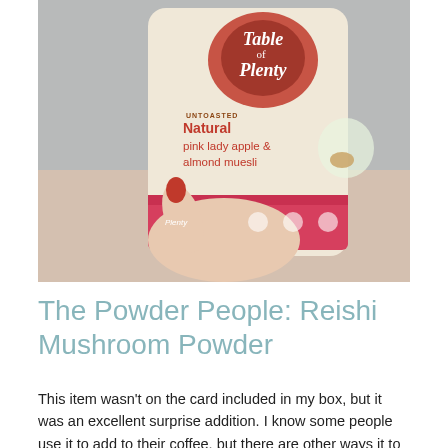[Figure (photo): A hand with red-painted fingernails holding a bag of 'Table of Plenty' Untoasted Natural pink lady apple & almond muesli product, against a light grey background.]
The Powder People: Reishi Mushroom Powder
This item wasn't on the card included in my box, but it was an excellent surprise addition. I know some people use it to add to their coffee, but there are other ways it to flavour this...